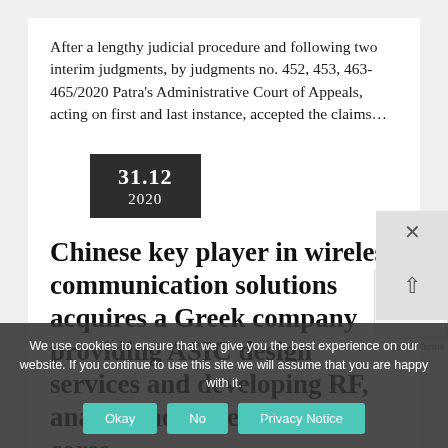After a lengthy judicial procedure and following two interim judgments, by judgments no. 452, 453, 463-465/2020 Patra's Administrative Court of Appeals, acting on first and last instance, accepted the claims...
31.12
2020
Chinese key player in wireless communication solutions acquires a Greek company providing ASIC design services and developing RF, analog and mixed signal IP cores